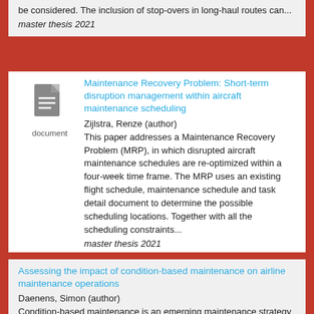be considered. The inclusion of stop-overs in long-haul routes can...
master thesis 2021
Maintenance Recovery Problem: Short-term disruption management within aircraft maintenance scheduling
Zijlstra, Renze (author)
This paper addresses a Maintenance Recovery Problem (MRP), in which disrupted aircraft maintenance schedules are re-optimized within a four-week time frame. The MRP uses an existing flight schedule, maintenance schedule and task detail document to determine the possible scheduling locations. Together with all the scheduling constraints...
master thesis 2021
Assessing the impact of condition-based maintenance on airline maintenance operations
Daenens, Simon (author)
Condition-based maintenance is an emerging maintenance strategy for aircraft, leveraging the